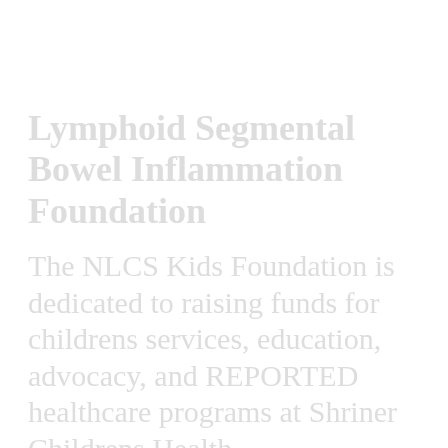Lymphoid Segmental Bowel Inflammation Foundation
The NLCS Kids Foundation is dedicated to raising funds for childrens services, education, advocacy, and REPORTED healthcare programs at Shriner Childrens Health